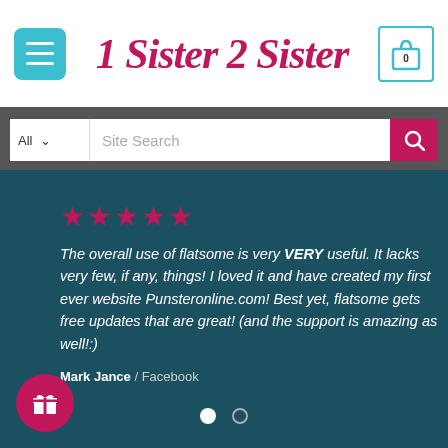1 Sister 2 Sister
All  Site Search
The overall use of flatsome is very VERY useful. It lacks very few, if any, things! I loved it and have created my first ever website Punsteronline.com! Best yet, flatsome gets free updates that are great! (and the support is amazing as well!:)
Mark Jance / Facebook